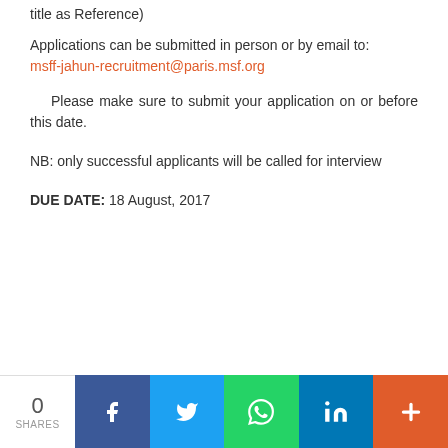title as Reference)
Applications can be submitted in person or by email to: msff-jahun-recruitment@paris.msf.org
Please make sure to submit your application on or before this date.
NB: only successful applicants will be called for interview
DUE DATE: 18 August, 2017
0 SHARES | Facebook | Twitter | WhatsApp | LinkedIn | More